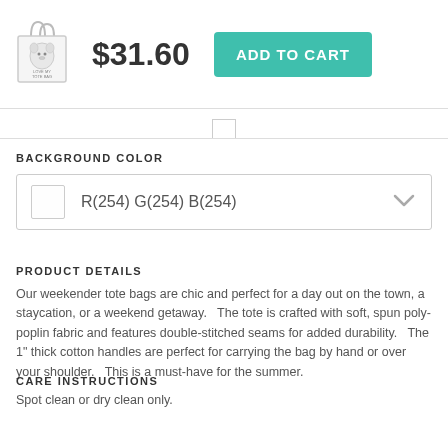[Figure (photo): White weekender tote bag with a dog graphic on the front, shown with handles up]
$31.60
ADD TO CART
BACKGROUND COLOR
R(254) G(254) B(254)
PRODUCT DETAILS
Our weekender tote bags are chic and perfect for a day out on the town, a staycation, or a weekend getaway.   The tote is crafted with soft, spun poly-poplin fabric and features double-stitched seams for added durability.   The 1" thick cotton handles are perfect for carrying the bag by hand or over your shoulder.   This is a must-have for the summer.
CARE INSTRUCTIONS
Spot clean or dry clean only.
SHIPS WITHIN
2 - 3 business days